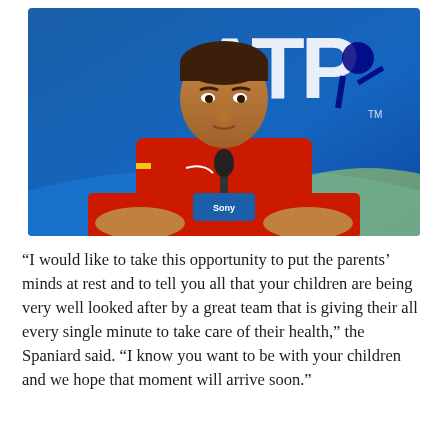[Figure (photo): Rafael Nadal in a red Nike shirt sitting at a press conference table with a microphone and ATP logo banner in the background]
“I would like to take this opportunity to put the parents’ minds at rest and to tell you all that your children are being very well looked after by a great team that is giving their all every single minute to take care of their health,” the Spaniard said. “I know you want to be with your children and we hope that moment will arrive soon.”